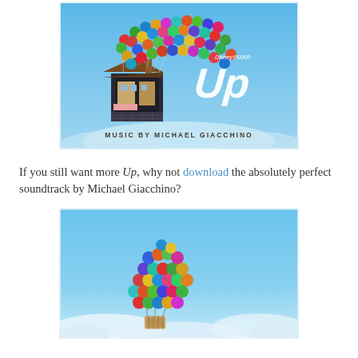[Figure (photo): Album cover for the Disney Pixar movie 'Up', featuring a house lifted by colorful balloons against a blue sky. Text reads 'Disney Pixar Up' and 'Music by Michael Giacchino'.]
If you still want more Up, why not download the absolutely perfect soundtrack by Michael Giacchino?
[Figure (photo): Movie still from Disney Pixar 'Up' showing a large bunch of colorful balloons forming a hot-air balloon shape with a small basket, floating in a blue sky with clouds below.]